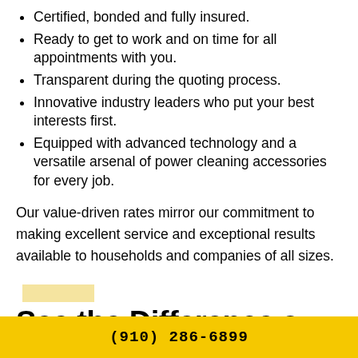Certified, bonded and fully insured.
Ready to get to work and on time for all appointments with you.
Transparent during the quoting process.
Innovative industry leaders who put your best interests first.
Equipped with advanced technology and a versatile arsenal of power cleaning accessories for every job.
Our value-driven rates mirror our commitment to making excellent service and exceptional results available to households and companies of all sizes.
See the Difference a
(910) 286-6899